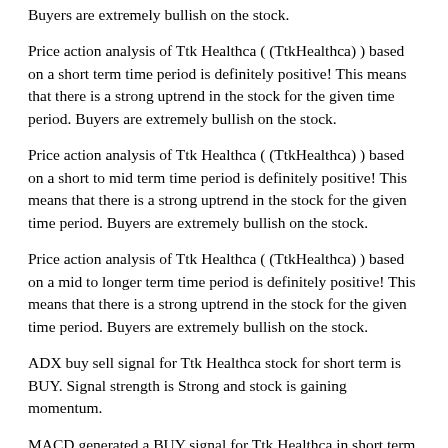Buyers are extremely bullish on the stock.
Price action analysis of Ttk Healthca ( (TtkHealthca) ) based on a short term time period is definitely positive! This means that there is a strong uptrend in the stock for the given time period. Buyers are extremely bullish on the stock.
Price action analysis of Ttk Healthca ( (TtkHealthca) ) based on a short to mid term time period is definitely positive! This means that there is a strong uptrend in the stock for the given time period. Buyers are extremely bullish on the stock.
Price action analysis of Ttk Healthca ( (TtkHealthca) ) based on a mid to longer term time period is definitely positive! This means that there is a strong uptrend in the stock for the given time period. Buyers are extremely bullish on the stock.
ADX buy sell signal for Ttk Healthca stock for short term is BUY. Signal strength is Strong and stock is gaining momentum.
MACD generated a BUY signal for Ttk Healthca in short term and the buy signal is strong.
MACD line is moving upwards which means that SELL signal is weakening, and buying is picking up momentum.
Ttk Healthca Stock is trading near its recent HIGHS, which